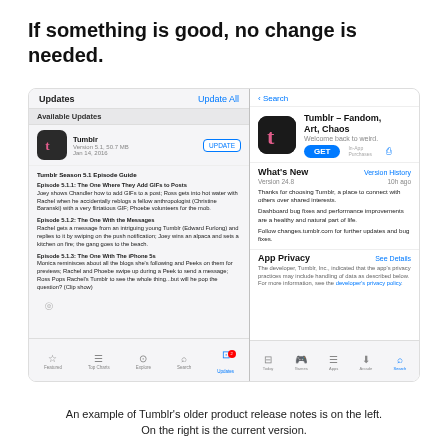If something is good, no change is needed.
[Figure (screenshot): Two side-by-side iOS App Store screenshots showing Tumblr. Left: older Updates screen with Tumblr app listed (Version 5.1, 50.7 MB, Jan 14, 2016) showing humorous Friends-themed episode guide release notes. Right: newer App Store Tumblr page showing app icon, 'Tumblr – Fandom, Art, Chaos', What's New section with Version 24.8 notes, and App Privacy section.]
An example of Tumblr's older product release notes is on the left.
On the right is the current version.